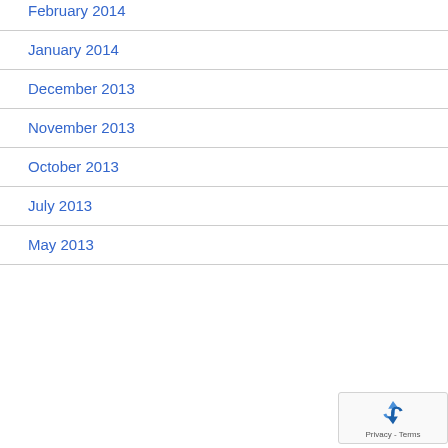February 2014
January 2014
December 2013
November 2013
October 2013
July 2013
May 2013
[Figure (logo): reCAPTCHA privacy badge with recycling-arrow logo and Privacy - Terms text]